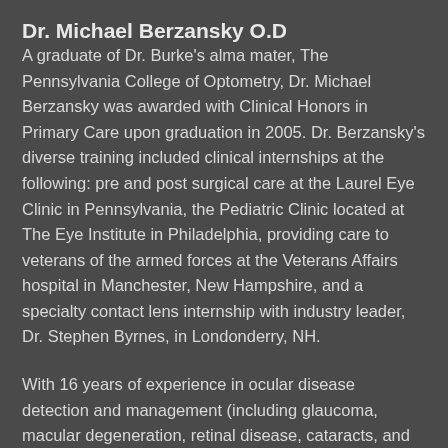Dr. Michael Berzansky O.D
A graduate of Dr. Burke's alma mater, The Pennsylvania College of Optometry, Dr. Michael Berzansky was awarded with Clinical Honors in Primary Care upon graduation in 2005. Dr. Berzansky's diverse training included clinical internships at the following: pre and post surgical care at the Laurel Eye Clinic in Pennsylvania, the Pediatric Clinic located at The Eye Institute in Philadelphia, providing care to veterans of the armed forces at the Veterans Affairs hospital in Manchester, New Hampshire, and a specialty contact lens internship with industry leader, Dr. Stephen Byrnes, in Londonderry, NH.
With 16 years of experience in ocular disease detection and management (including glaucoma, macular degeneration, retinal disease, cataracts, and dry eye), Dr. Berzansky is comfortable in...